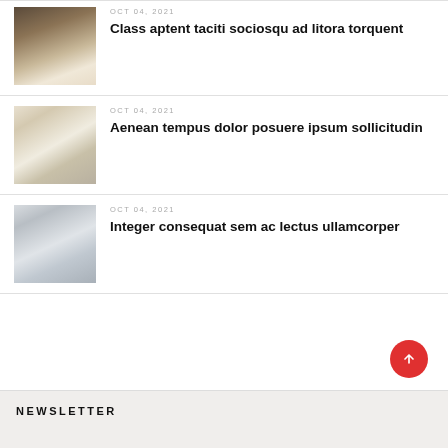[Figure (photo): Bedroom interior with skylight, minimalist white bedding and wooden floor]
OCT 04, 2021
Class aptent taciti sociosqu ad litora torquent
[Figure (photo): Modern living room with white sofa, plants and neutral tones]
OCT 04, 2021
Aenean tempus dolor posuere ipsum sollicitudin
[Figure (photo): Contemporary grey living room with large windows and city view]
OCT 04, 2021
Integer consequat sem ac lectus ullamcorper
NEWSLETTER